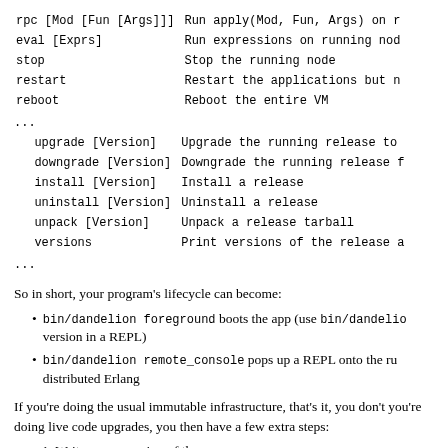rpc [Mod [Fun [Args]]]  Run apply(Mod, Fun, Args) on r
eval [Exprs]            Run expressions on running nod
stop                    Stop the running node
restart                 Restart the applications but n
reboot                  Reboot the entire VM
...
  upgrade [Version]     Upgrade the running release to
  downgrade [Version]   Downgrade the running release
  install [Version]     Install a release
  uninstall [Version]   Uninstall a release
  unpack [Version]      Unpack a release tarball
  versions              Print versions of the release
...
So in short, your program's lifecycle can become:
bin/dandelion foreground boots the app (use bin/dandelion version in a REPL)
bin/dandelion remote_console pops up a REPL onto the running node via distributed Erlang
If you're doing the usual immutable infrastructure, that's it, you don't need more. If you're doing live code upgrades, you then have a few extra steps:
1. Write a new version of the app
2. Give it some instructions about how to do its live code upgrade
3. Pack that in a new version of the release
4. Put the tarball in releases/